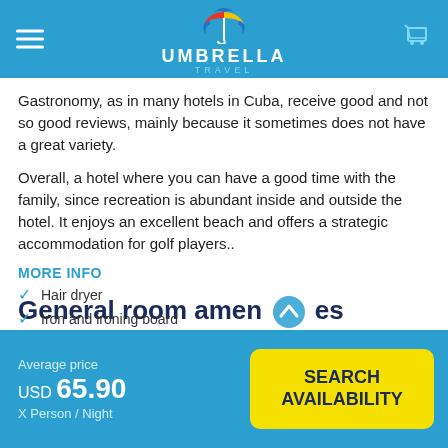UMBRELLA TRAVEL
Gastronomy, as in many hotels in Cuba, receive good and not so good reviews, mainly because it sometimes does not have a great variety.
Overall, a hotel where you can have a good time with the family, since recreation is abundant inside and outside the hotel. It enjoys an excellent beach and offers a strategic accommodation for golf players..
MORE INFO
General room amenities
Amenities marked with $ symbol has extra charge at hotel
Average price
USD 65.90
X Person / Night
Hair dryer
Iron and ironing board